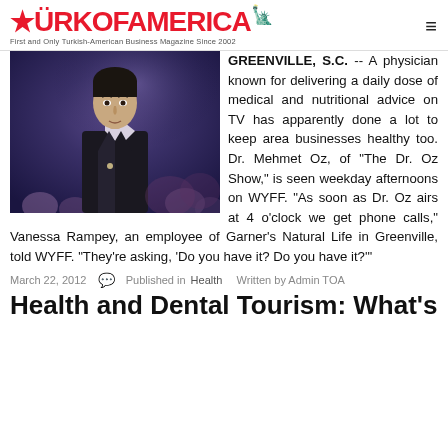TURKOFAMERICA — First and Only Turkish-American Business Magazine Since 2002
[Figure (photo): A man in a dark suit standing in front of a studio audience, shown from the waist up against a dark blue/purple background]
GREENVILLE, S.C. -- A physician known for delivering a daily dose of medical and nutritional advice on TV has apparently done a lot to keep area businesses healthy too. Dr. Mehmet Oz, of "The Dr. Oz Show," is seen weekday afternoons on WYFF. "As soon as Dr. Oz airs at 4 o'clock we get phone calls," Vanessa Rampey, an employee of Garner's Natural Life in Greenville, told WYFF. "They're asking, 'Do you have it? Do you have it?'"
March 22, 2012   Published in Health   Written by Admin TOA
Health and Dental Tourism: What's